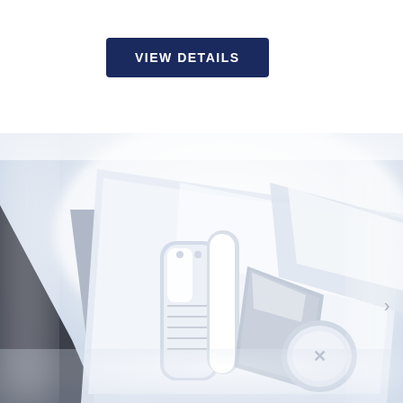VIEW DETAILS
[Figure (photo): Top-down product photo of a white medical or engineering device assembly with cylindrical components, brackets, and a small circular element with a logo, placed inside an open white enclosure or tray, viewed from above at an angle.]